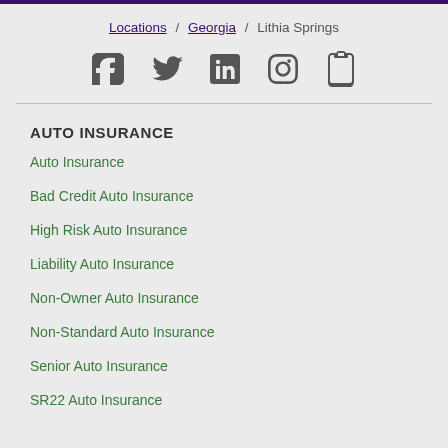Locations / Georgia / Lithia Springs
[Figure (infographic): Social media icons row: Facebook, Twitter, LinkedIn, Instagram, and one more icon]
AUTO INSURANCE
Auto Insurance
Bad Credit Auto Insurance
High Risk Auto Insurance
Liability Auto Insurance
Non-Owner Auto Insurance
Non-Standard Auto Insurance
Senior Auto Insurance
SR22 Auto Insurance